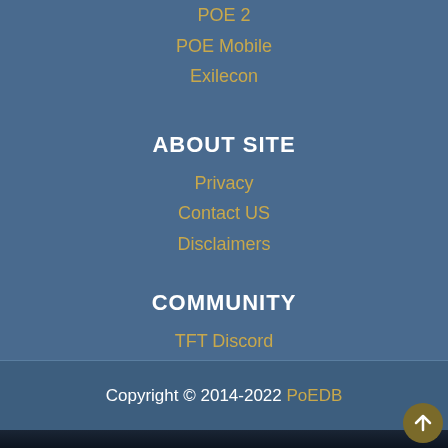POE 2
POE Mobile
Exilecon
ABOUT SITE
Privacy
Contact US
Disclaimers
COMMUNITY
TFT Discord
Copyright © 2014-2022 PoEDB
[Figure (photo): Dark atmospheric game scene background image at the bottom of the page]